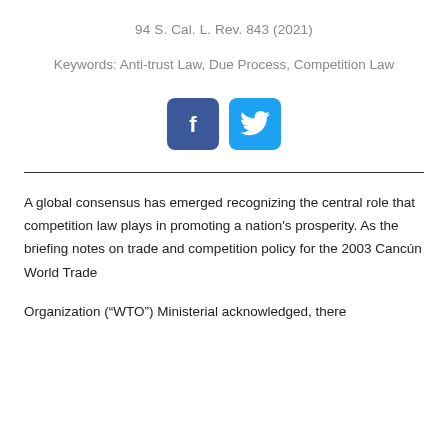94 S. Cal. L. Rev. 843 (2021)
Keywords: Anti-trust Law, Due Process, Competition Law
[Figure (logo): Facebook and Twitter social media share buttons — dark blue Facebook icon with 'f' logo and light blue Twitter icon with bird logo]
A global consensus has emerged recognizing the central role that competition law plays in promoting a nation's prosperity. As the briefing notes on trade and competition policy for the 2003 Cancún World Trade
Organization (“WTO”) Ministerial acknowledged, there